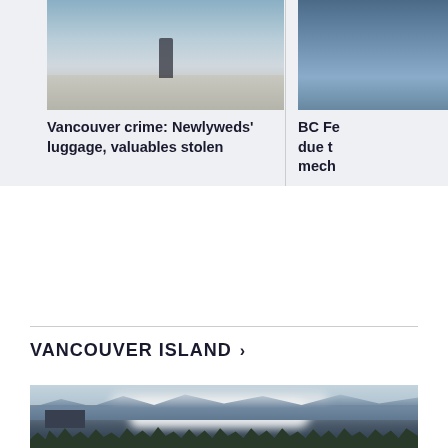[Figure (photo): Wedding couple standing on a dock with boats and water in the background, misty/overcast atmosphere]
Vancouver crime: Newlyweds' luggage, valuables stolen
[Figure (photo): Partial photo of water/landscape scene, partially cropped on right side]
BC Fe due t mech
VANCOUVER ISLAND >
[Figure (photo): Landscape photo showing smoke or wildfire smoke rising above a treeline with mountains/hills in the background, hazy atmosphere]